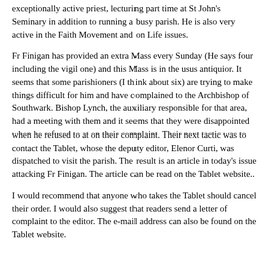exceptionally active priest, lecturing part time at St John's Seminary in addition to running a busy parish. He is also very active in the Faith Movement and on Life issues.
Fr Finigan has provided an extra Mass every Sunday (He says four including the vigil one) and this Mass is in the usus antiquior. It seems that some parishioners (I think about six) are trying to make things difficult for him and have complained to the Archbishop of Southwark. Bishop Lynch, the auxiliary responsible for that area, had a meeting with them and it seems that they were disappointed when he refused to at on their complaint. Their next tactic was to contact the Tablet, whose the deputy editor, Elenor Curti, was dispatched to visit the parish. The result is an article in today's issue attacking Fr Finigan. The article can be read on the Tablet website..
I would recommend that anyone who takes the Tablet should cancel their order. I would also suggest that readers send a letter of complaint to the editor. The e-mail address can also be found on the Tablet website.